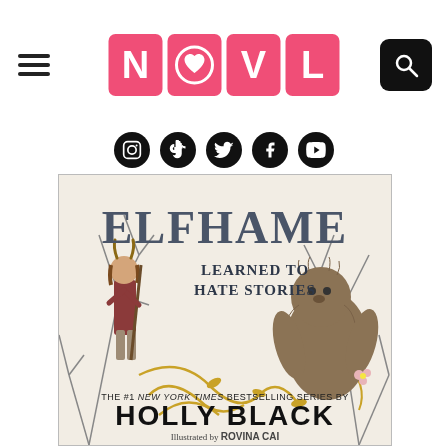[Figure (logo): NOVL logo with pink square tiles for each letter N, O (with heart), V, L. Hamburger menu on left, search icon on right.]
[Figure (infographic): Row of 5 social media icons (Instagram, TikTok, Twitter/X, Facebook, YouTube) as white icons on black circles.]
[Figure (illustration): Book cover: 'Elfhame Learned to Hate Stories' — fantasy illustrated book cover showing a girl with horns in brown clothing holding a staff on the left, a large hairy creature on the right, with golden swirling vines and bare branches. Text reads: THE #1 NEW YORK TIMES BESTSELLING SERIES BY HOLLY BLACK, Illustrated by ROVINA CAI.]